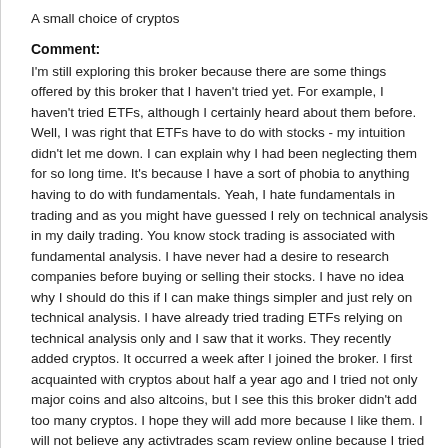A small choice of cryptos
Comment:
I'm still exploring this broker because there are some things offered by this broker that I haven't tried yet. For example, I haven't tried ETFs, although I certainly heard about them before. Well, I was right that ETFs have to do with stocks - my intuition didn't let me down. I can explain why I had been neglecting them for so long time. It's because I have a sort of phobia to anything having to do with fundamentals. Yeah, I hate fundamentals in trading and as you might have guessed I rely on technical analysis in my daily trading. You know stock trading is associated with fundamental analysis. I have never had a desire to research companies before buying or selling their stocks. I have no idea why I should do this if I can make things simpler and just rely on technical analysis. I have already tried trading ETFs relying on technical analysis only and I saw that it works. They recently added cryptos. It occurred a week after I joined the broker. I first acquainted with cryptos about half a year ago and I tried not only major coins and also altcoins, but I see this this broker didn't add too many cryptos. I hope they will add more because I like them. I will not believe any activtrades scam review online because I tried it and I know fore sure that it's a genuine company.